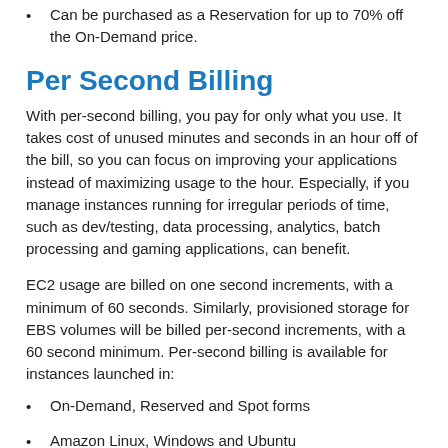Can be purchased as a Reservation for up to 70% off the On-Demand price.
Per Second Billing
With per-second billing, you pay for only what you use. It takes cost of unused minutes and seconds in an hour off of the bill, so you can focus on improving your applications instead of maximizing usage to the hour. Especially, if you manage instances running for irregular periods of time, such as dev/testing, data processing, analytics, batch processing and gaming applications, can benefit.
EC2 usage are billed on one second increments, with a minimum of 60 seconds. Similarly, provisioned storage for EBS volumes will be billed per-second increments, with a 60 second minimum. Per-second billing is available for instances launched in:
On-Demand, Reserved and Spot forms
Amazon Linux, Windows and Ubuntu